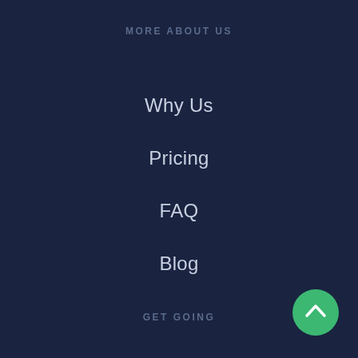MORE ABOUT US
Why Us
Pricing
FAQ
Blog
GET GOING
Login
Sign up
Contact
[Figure (illustration): Green circular button with white upward chevron arrow, positioned bottom-right]